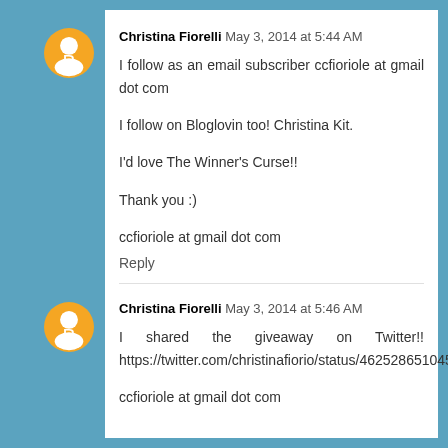Christina Fiorelli May 3, 2014 at 5:44 AM
I follow as an email subscriber ccfioriole at gmail dot com

I follow on Bloglovin too! Christina Kit.

I'd love The Winner's Curse!!

Thank you :)

ccfioriole at gmail dot com
Reply
Christina Fiorelli May 3, 2014 at 5:46 AM
I shared the giveaway on Twitter!! https://twitter.com/christinafiorio/status/462528651045900288

ccfioriole at gmail dot com